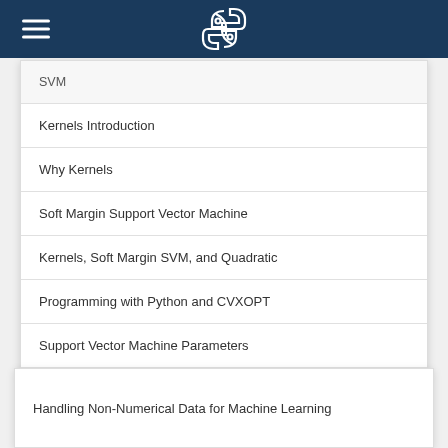Python (hamburger menu + Python logo)
SVM
Kernels Introduction
Why Kernels
Soft Margin Support Vector Machine
Kernels, Soft Margin SVM, and Quadratic
Programming with Python and CVXOPT
Support Vector Machine Parameters
Machine Learning - Clustering Introduction
Handling Non-Numerical Data for Machine Learning